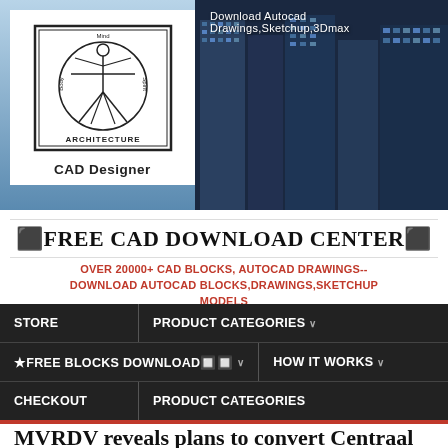[Figure (screenshot): Website header banner with city building background and CAD Designer logo with Vitruvian man architectural logo]
Download Autocad Drawings,Sketchup,3Dmax
⬛FREE CAD DOWNLOAD CENTER⬛
OVER 20000+ CAD BLOCKS, AUTOCAD DRAWINGS--DOWNLOAD AUTOCAD BLOCKS,DRAWINGS,SKETCHUP MODELS
STORE | PRODUCT CATEGORIES ∨
★FREE BLOCKS DOWNLOAD🔲🔲 ∨ | HOW IT WORKS ∨
CHECKOUT | PRODUCT CATEGORIES
MVRDV reveals plans to convert Centraal Beheer into housing